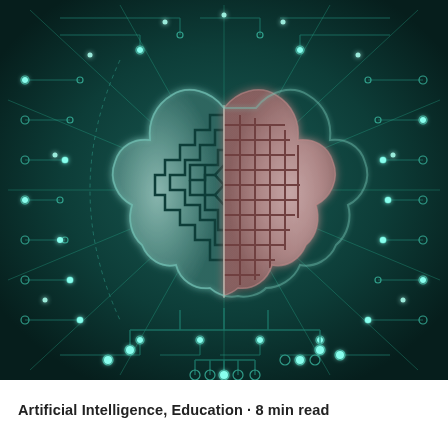[Figure (illustration): Digital illustration of a human brain split into two halves: the left half rendered as metallic silver-green maze-like circuitry, and the right half rendered as pink circuit board traces, both set against a dark teal circuit board background with glowing connection nodes and radiating lines suggesting a neural network or AI concept.]
Artificial Intelligence, Education · 8 min read